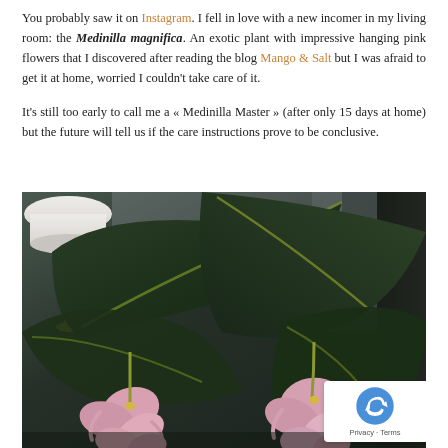You probably saw it on Instagram. I fell in love with a new incomer in my living room: the Medinilla magnifica. An exotic plant with impressive hanging pink flowers that I discovered after reading the blog Mango & Salt but I was afraid to get it at home, worried I couldn't take care of it.
It's still too early to call me a « Medinilla Master » (after only 15 days at home) but the future will tell us if the care instructions prove to be conclusive.
[Figure (photo): Close-up photo of a Medinilla magnifica plant with large dark green leaves and hanging pink flowers, against a neutral room background with a lamp visible on the left. A reCAPTCHA badge appears in the bottom-right corner.]